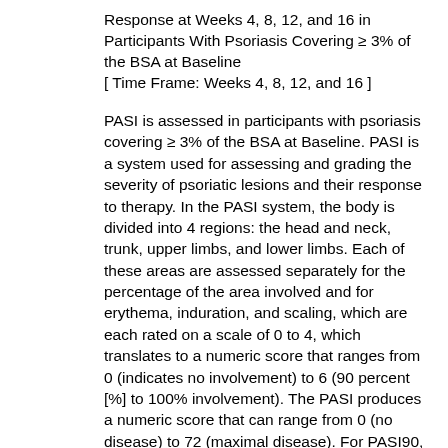Response at Weeks 4, 8, 12, and 16 in Participants With Psoriasis Covering ≥ 3% of the BSA at Baseline [ Time Frame: Weeks 4, 8, 12, and 16 ]
PASI is assessed in participants with psoriasis covering ≥ 3% of the BSA at Baseline. PASI is a system used for assessing and grading the severity of psoriatic lesions and their response to therapy. In the PASI system, the body is divided into 4 regions: the head and neck, trunk, upper limbs, and lower limbs. Each of these areas are assessed separately for the percentage of the area involved and for erythema, induration, and scaling, which are each rated on a scale of 0 to 4, which translates to a numeric score that ranges from 0 (indicates no involvement) to 6 (90 percent [%] to 100% involvement). The PASI produces a numeric score that can range from 0 (no disease) to 72 (maximal disease). For PASI90, the improvement threshold from baseline in PASI score is 90%. A higher score indicates more